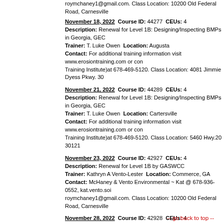roymchaney1@gmail.com. Class Location: 10200 Old Federal Road, Carnesville
November 18, 2022 Course ID: 44277 CEUs: 4
Description: Renewal for Level 1B: Designing/Inspecting BMPs in Georgia, GEC
Trainer: T. Luke Owen Location: Augusta
Contact: For additional training information visit www.erosiontraining.com or con Training Institute)at 678-469-5120. Class Location: 4081 Jimmie Dyess Pkwy. 30
November 21, 2022 Course ID: 44289 CEUs: 4
Description: Renewal for Level 1B: Designing/Inspecting BMPs in Georgia, GEC
Trainer: T. Luke Owen Location: Cartersville
Contact: For additional training information visit www.erosiontraining.com or con Training Institute)at 678-469-5120. Class Location: 5460 Hwy.20 30121
November 23, 2022 Course ID: 42927 CEUs: 4
Description: Renewal for Level 1B by GASWCC
Trainer: Kathryn A Vento-Lester Location: Commerce, GA
Contact: McHaney & Vento Environmental ~ Kat @ 678-936-0552, kat.vento.soi roymchaney1@gmail.com. Class Location: 10200 Old Federal Road, Carnesville
November 28, 2022 Course ID: 42928 CEUs: 4
Description: Renewal for Level 1B by GASWCC
Trainer: Kathryn A Vento-Lester Location: Commerce, GA
Contact: McHaney & Vento Environmental ~ Kat @ 678-936-0552, kat.vento.soi roymchaney1@gmail.com. Class Location: 10200 Old Federal Road, Carnesville
November 29, 2022 Course ID: 44258 CEUs: 4
Description: Renewal for Level 1B: Designing/Inspecting BMPs in Georgia, GEC
Trainer: Betty J Jordan Location: Norcross
Contact: For additional information visit www.erosiontraining.com or contact T. L Institute)at 678-469-5120. Class Location: 5200 Peachtree Industrial Blvd. 30071
November 30, 2022 Course ID: 44165 CEUs: 4
Description: Renewal for Level 1B by GASWCC
Trainer: James T Davis Location: 2217 HWY 83, Monroe GA 30655
Contact: guta-training.com Jimmy Davis jdavis@monroega.gov 770-266-5146
-- go back to top --